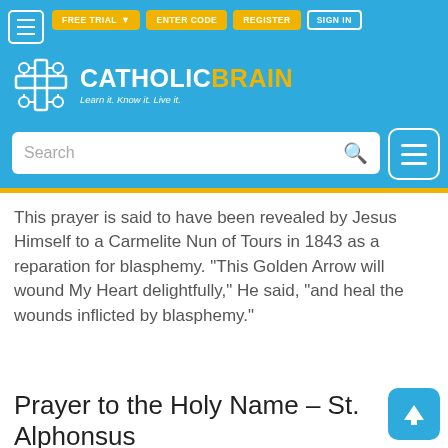[Figure (screenshot): CatholicBrain website header with navigation buttons (FREE TRIAL, ENTER CODE, REGISTER, SIGN IN), logo with brain/cross icon, tagline 'Learn it. Know it. Live it.', and search bar]
This prayer is said to have been revealed by Jesus Himself to a Carmelite Nun of Tours in 1843 as a reparation for blasphemy. "This Golden Arrow will wound My Heart delightfully," He said, "and heal the wounds inflicted by blasphemy."
Prayer to the Holy Name – St. Alphonsus